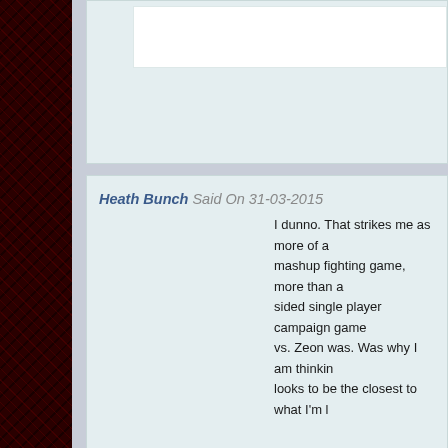[partial comment block at top]
Heath Bunch Said On 31-03-2015
I dunno. That strikes me as more of a mashup fighting game, more than a sided single player campaign game vs. Zeon was. Was why I am thinking looks to be the closest to what I'm l
Greg Said On 31-03-2015
You may also like Gundam Si
Ollie Barder Said On 31-03-2015
Gundam Extreme Versus has